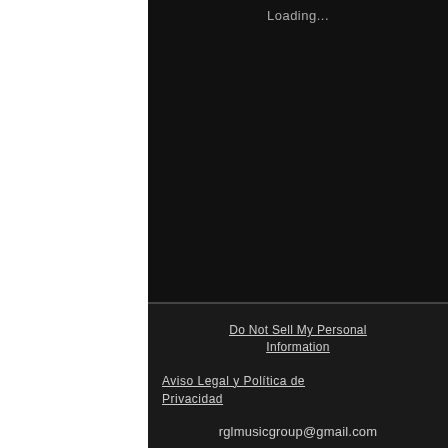Loading...
Do Not Sell My Personal Information
Aviso Legal y Política de Privacidad
rglmusicgroup@gmail.com